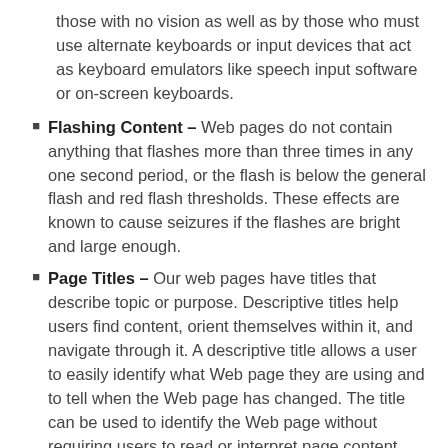those with no vision as well as by those who must use alternate keyboards or input devices that act as keyboard emulators like speech input software or on-screen keyboards.
Flashing Content – Web pages do not contain anything that flashes more than three times in any one second period, or the flash is below the general flash and red flash thresholds. These effects are known to cause seizures if the flashes are bright and large enough.
Page Titles – Our web pages have titles that describe topic or purpose. Descriptive titles help users find content, orient themselves within it, and navigate through it. A descriptive title allows a user to easily identify what Web page they are using and to tell when the Web page has changed. The title can be used to identify the Web page without requiring users to read or interpret page content. Users can more quickly identify the content they need when accurate, descriptive titles appear in site maps or lists of search results. When descriptive titles are used within link text, they help users navigate more precisely to the content they are interested in.